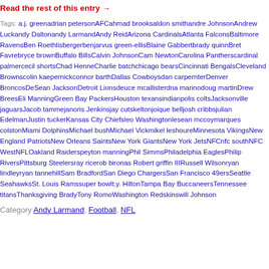Read the rest of this entry →
Tags: a.j. greenadrian petersonAFCahmad brooksaldon smithandre JohnsonAndrew Luckandy Daltonandy LarmandAndy ReidArizona CardinalsAtlanta FalconsBaltimore RavensBen Roethlisbergerbenjarvus green-ellisBlaine Gabbertbrady quinnBret Favrebryce brownBuffalo BillsCalvin JohnsonCam NewtonCarolina Pantherscardinal palmercecil shortsChad HenneCharlie batchchicago bearsCincinnati BengalsCleveland Brownscolin kaepernickconnor barthDallas Cowboysdan carpernterDenver BroncosDeSean JacksonDetroit Lionsdeuce mcallisterdna marinodoug martinDrew BreesEli ManningGreen Bay PackersHouston texansindianpolis coltsJacksonville jaguarsJacob tammejanoris Jenkinsjay cut skeltonjoique belljosh cribbsjulian EdelmanJustin tuckerKansas City Chiefsleo Washingtonlesean mccoymarques colstonMiami DolphinsMichael bushMichael VickMikel leshoureMinnesota VikingsNew England PatriotsNew Orleans SaintsNew York GiantsNew York JetsNFCnfc southNFC WestNFLOakland Raiderspeyton manningPhil SimmsPhiladelphia EaglesPhilip RiversPittsburg Steelersray rice waynerob bironasRobert griffin IIIRussell Wilsonryan lindleyryan tannehillSam BradfordSan Diego ChargersSan Francisco 49ersSeattle SeahawksSt. Louis Ramssuper bowlt.y. HiltonTampa Bay BuccaneersTennessee titansThanksgiving BradyTony RomoWashington Redskinswill Johnson
Category Andy Larmand, Football, NFL